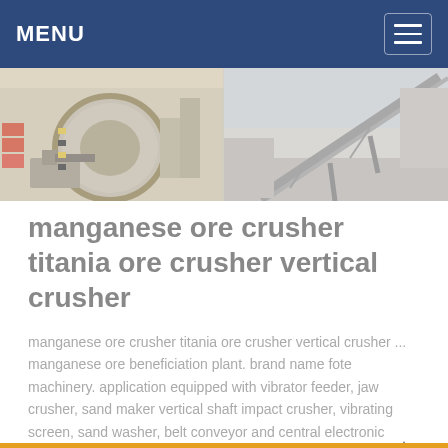MENU
[Figure (photo): Two industrial mining/crushing equipment photos side by side: left shows a large ball mill or grinding machine in an industrial facility; right shows a conveyor belt structure in an outdoor mining setting.]
manganese ore crusher titania ore crusher vertical crusher
manganese ore crusher titania ore crusher vertical crusher ... manganese ore beneficiation plant. brand name fote machinery. application equipped with vibrator feeder, jaw crusher, sand maker vertical shaft impact crusher, vibrating screen, sand washer, belt conveyor and central electronic control, sand making plant can process the granite ...